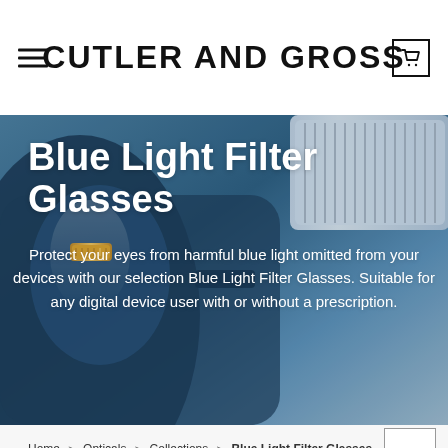CUTLER AND GROSS
[Figure (photo): Close-up photo of blue light filter glasses frame in blue/navy color with gold accent detail, shown against a light background. White overlaid text describes blue light filter glasses.]
Blue Light Filter Glasses
Protect your eyes from harmful blue light omitted from your devices with our selection Blue Light Filter Glasses. Suitable for any digital device user with or without a prescription.
Home > Opticals > Collections > Blue Light Filter Glasses
Now Shopping by